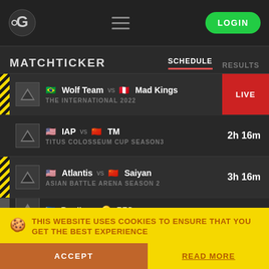G logo | hamburger menu | LOGIN
MATCHTICKER
SCHEDULE | RESULTS
Wolf Team vs Mad Kings — THE INTERNATIONAL 2022 — LIVE
IAP vs TM — TITUS COLOSSEUM CUP SEASON3 — 2h 16m
Atlantis vs Saiyan — ASIAN BATTLE ARENA SEASON 2 — 3h 16m
Brodie vs RFC (partial)
THIS WEBSITE USES COOKIES TO ENSURE THAT YOU GET THE BEST EXPERIENCE
ACCEPT | READ MORE